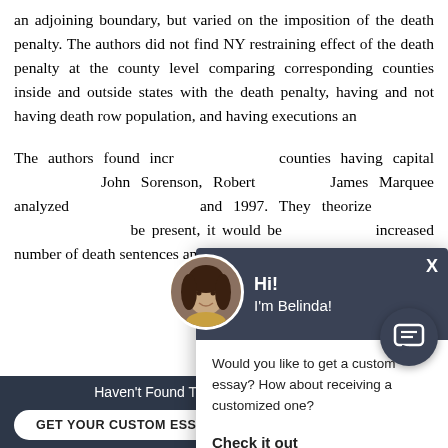an adjoining boundary, but varied on the imposition of the death penalty. The authors did not find NY restraining effect of the death penalty at the county level comparing corresponding counties inside and outside states with the death penalty, having and not having death row population, and having executions and...
The authors found incr... counties having capital... John Sorenson, Robert... James Marquee analyzed... and 1997. They theorized... be present, it would be... increased number of death sentences and executions...
[Figure (screenshot): Chat popup widget with avatar photo of a woman named Belinda, dark header, message 'Would you like to get a custom essay? How about receiving a customized one?' and a 'Check it out' link.]
[Figure (screenshot): Bottom banner with dark background, text 'Haven't Found The Essay You Want?', a white rounded button 'GET YOUR CUSTOM ESSAY', text 'For Only $13.90/page', and X close button.]